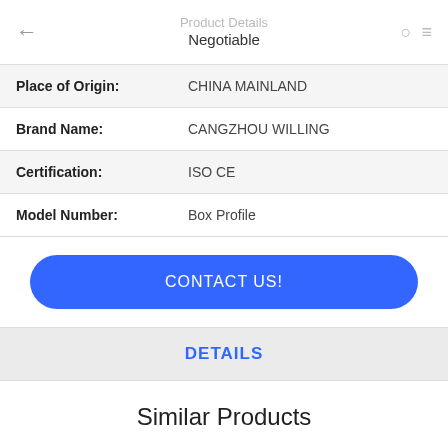Product Details / Negotiable
| Field | Value |
| --- | --- |
| Place of Origin: | CHINA MAINLAND |
| Brand Name: | CANGZHOU WILLING |
| Certification: | ISO CE |
| Model Number: | Box Profile |
CONTACT US!
DETAILS
Similar Products